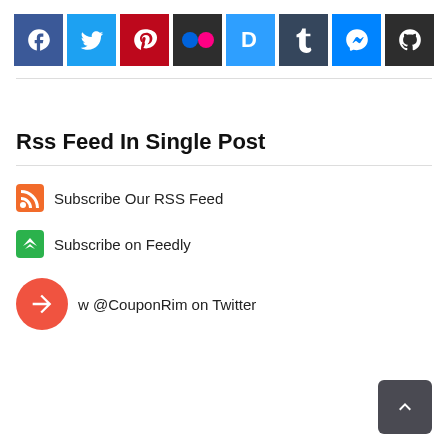[Figure (other): Social media sharing icons bar: Facebook (blue), Twitter (light blue), Pinterest (red), Flickr (dark/black), Disqus (blue), Tumblr (dark blue), Messenger (blue), GitHub (dark)]
Rss Feed In Single Post
Subscribe Our RSS Feed
Subscribe on Feedly
w @CouponRim on Twitter